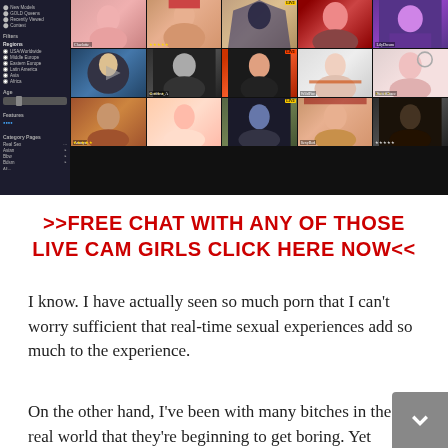[Figure (screenshot): Screenshot of a live cam website grid showing multiple video thumbnails with a dark sidebar on the left containing navigation options and filters]
>>FREE CHAT WITH ANY OF THOSE LIVE CAM GIRLS CLICK HERE NOW<<
I know. I have actually seen so much porn that I can't worry sufficient that real-time sexual experiences add so much to the experience.
On the other hand, I've been with many bitches in the real world that they're beginning to get boring. Yet